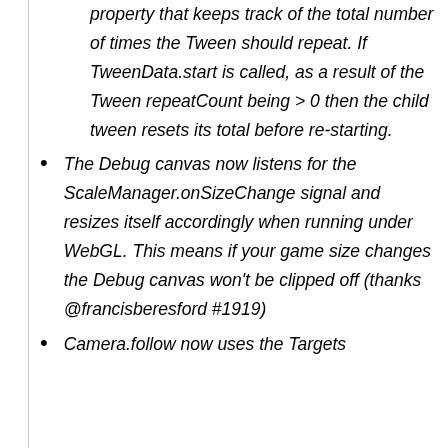property that keeps track of the total number of times the Tween should repeat. If TweenData.start is called, as a result of the Tween repeatCount being > 0 then the child tween resets its total before re-starting.
The Debug canvas now listens for the ScaleManager.onSizeChange signal and resizes itself accordingly when running under WebGL. This means if your game size changes the Debug canvas won't be clipped off (thanks @francisberesford #1919)
Camera.follow now uses the Targets